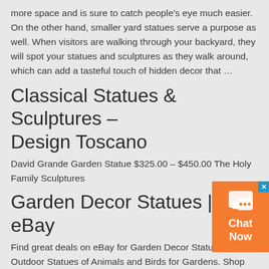more space and is sure to catch people's eye much easier. On the other hand, smaller yard statues serve a purpose as well. When visitors are walking through your backyard, they will spot your statues and sculptures as they walk around, which can add a tasteful touch of hidden decor that …
Classical Statues & Sculptures – Design Toscano
David Grande Garden Statue $325.00 – $450.00 The Holy Family Sculptures
Garden Decor Statues | eBay
Find great deals on eBay for Garden Decor Statues in Outdoor Statues of Animals and Birds for Gardens. Shop with confidence.
Garden Statues at Lowes.com
Shop garden statues in the garden statues &